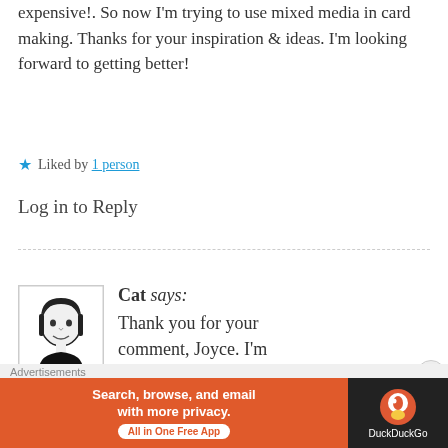expensive!. So now I'm trying to use mixed media in card making. Thanks for your inspiration & ideas. I'm looking forward to getting better!
Liked by 1 person
Log in to Reply
[Figure (photo): Avatar photo of Cat, black and white illustration of a young girl]
Cat says: Thank you for your comment, Joyce. I'm so glad
July 13, 2018 at 12:53 pm
Advertisements Search, browse, and email with more privacy. All in One Free App DuckDuckGo